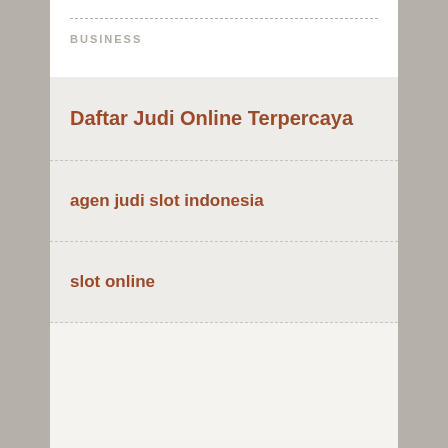BUSINESS
Daftar Judi Online Terpercaya
agen judi slot indonesia
slot online